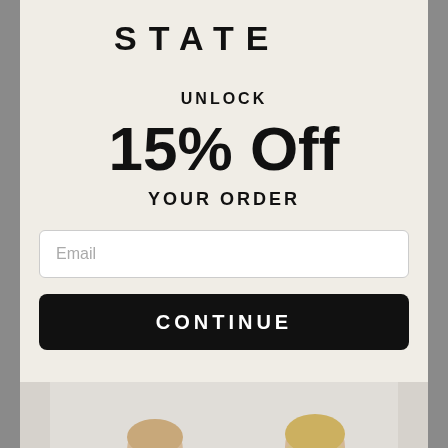STATE
UNLOCK
15% Off
YOUR ORDER
Email
CONTINUE
[Figure (photo): Three children seen from behind wearing backpacks — an orange backpack on the left, and a light blue/grey backpack on the right. They appear to be in front of a white wall.]